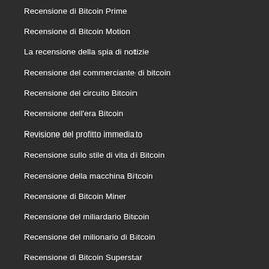Recensione di Bitcoin Prime
Recensione di Bitcoin Motion
La recensione della spia di notizie
Recensione del commerciante di bitcoin
Recensione del circuito Bitcoin
Recensione dell'era Bitcoin
Revisione del profitto immediato
Recensione sullo stile di vita di Bitcoin
Recensione della macchina Bitcoin
Recensione di Bitcoin Miner
Recensione del miliardario Bitcoin
Recensione del milionario di Bitcoin
Recensione di Bitcoin Superstar
Recensione di tempesta di bitcoin
Recensione BitiQ